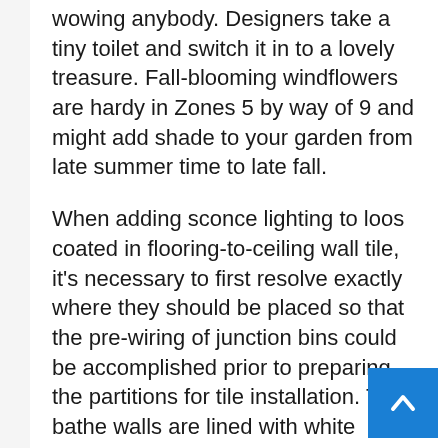wowing anybody. Designers take a tiny toilet and switch it in to a lovely treasure. Fall-blooming windflowers are hardy in Zones 5 by way of 9 and might add shade to your garden from late summer time to late fall.
When adding sconce lighting to loos coated in flooring-to-ceiling wall tile, it's necessary to first resolve exactly where they should be placed so that the pre-wiring of junction bins could be accomplished prior to preparing the partitions for tile installation. The bathe walls are lined with white subway tiles for a streamlined look, whereas a frameless glass door provides a contemporary open feeling to the space.
This kitchen has outdated pendant lighting fix, zinc countertops, and vintage chairs. Designer